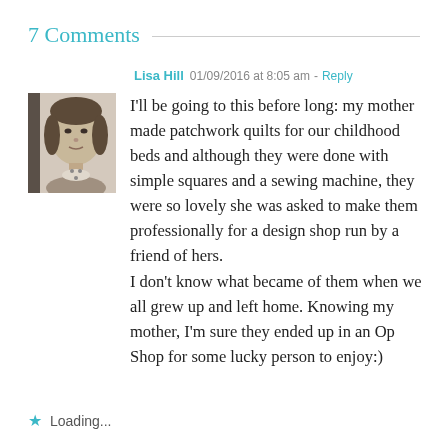7 Comments
Lisa Hill  01/09/2016 at 8:05 am - Reply

I'll be going to this before long: my mother made patchwork quilts for our childhood beds and although they were done with simple squares and a sewing machine, they were so lovely she was asked to make them professionally for a design shop run by a friend of hers.
I don't know what became of them when we all grew up and left home. Knowing my mother, I'm sure they ended up in an Op Shop for some lucky person to enjoy:)
Loading...